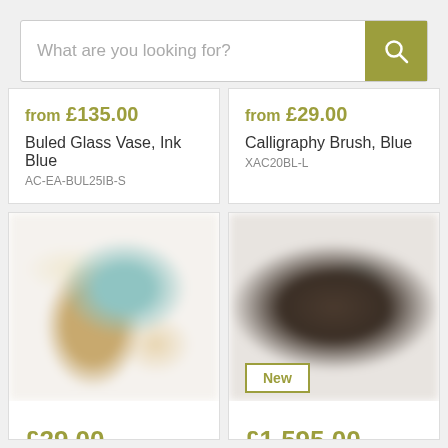[Figure (screenshot): E-commerce search bar with placeholder text 'What are you looking for?' and olive/yellow-green search button with magnifying glass icon]
from £135.00
Buled Glass Vase, Ink Blue
AC-EA-BUL25IB-S
from £29.00
Calligraphy Brush, Blue
XAC20BL-L
[Figure (photo): Blurred product photo showing glass vases with warm tan and teal colors arranged in a cross pattern]
£29.00
Calligraphy Brush
[Figure (photo): Blurred product photo showing dark wooden cabinet/furniture with teal interior accent and 'New' badge overlay]
£1,595.00
General Antique Shipping